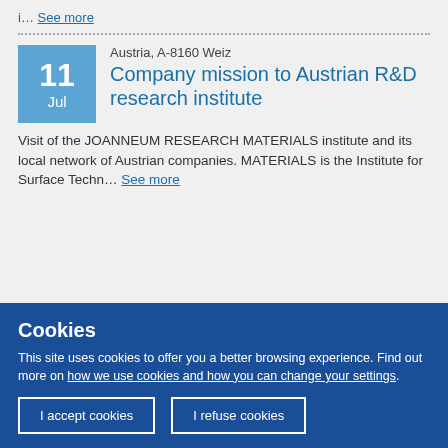i… See more
Austria, A-8160 Weiz
Company mission to Austrian R&D research institute
Visit of the JOANNEUM RESEARCH MATERIALS institute and its local network of Austrian companies. MATERIALS is the Institute for Surface Techn… See more
Cookies
This site uses cookies to offer you a better browsing experience. Find out more on how we use cookies and how you can change your settings.
I accept cookies
I refuse cookies